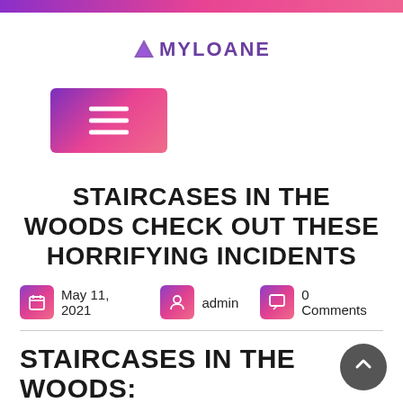[Figure (logo): AMYLOANE logo with purple triangle icon and styled text]
[Figure (infographic): Purple-to-pink gradient hamburger menu button with three white horizontal lines]
STAIRCASES IN THE WOODS CHECK OUT THESE HORRIFYING INCIDENTS
May 11, 2021   admin   0 Comments
STAIRCASES IN THE WOODS: